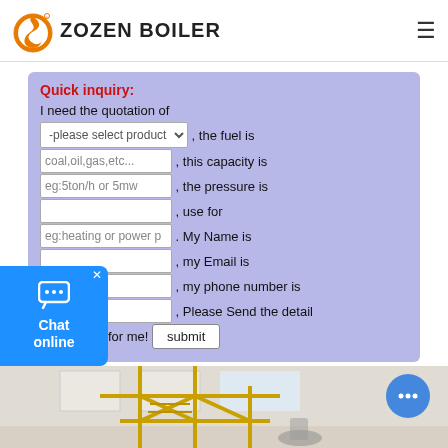[Figure (logo): Zozen Boiler logo with orange flame/S icon and bold text 'ZOZEN BOILER']
Quick inquiry:
I need the quotation of [please select product dropdown], the fuel is [coal,oil,gas,etc... input], this capacity is [eg:5ton/h or 5mw input], the pressure is [input], use for [eg:heating or power input]. My Name is [input], my Email is [input], my phone number is [input], Please Send the detail information for me! [submit button]
[Figure (photo): Industrial boiler facility interior showing yellow scaffolding/stairs structure in a warehouse]